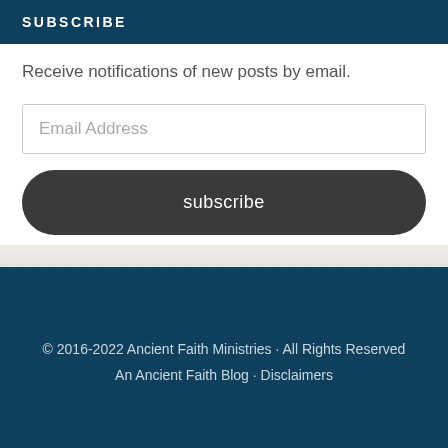SUBSCRIBE
Receive notifications of new posts by email.
Email Address
subscribe
© 2016-2022 Ancient Faith Ministries · All Rights Reserved
An Ancient Faith Blog · Disclaimers